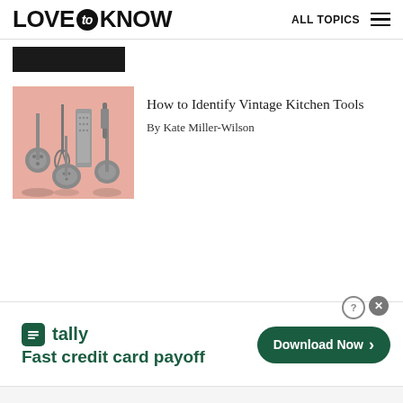LOVE to KNOW  ALL TOPICS
[Figure (photo): Partial dark image strip from previous article thumbnail]
[Figure (photo): Photo of vintage kitchen tools including slotted spoons, graters, ladles, and other utensils arranged on a pink background]
How to Identify Vintage Kitchen Tools
By Kate Miller-Wilson
[Figure (other): Tally advertisement banner: 'Fast credit card payoff' with Download Now button]